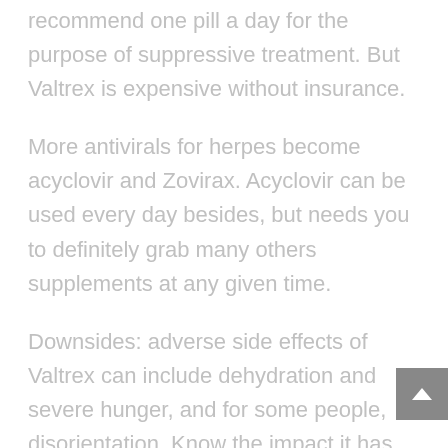recommend one pill a day for the purpose of suppressive treatment. But Valtrex is expensive without insurance.
More antivirals for herpes become acyclovir and Zovirax. Acyclovir can be used every day besides, but needs you to definitely grab many others supplements at any given time.
Downsides: adverse side effects of Valtrex can include dehydration and severe hunger, and for some people, disorientation. Know the impact it has got you before you drive a motor vehicle.